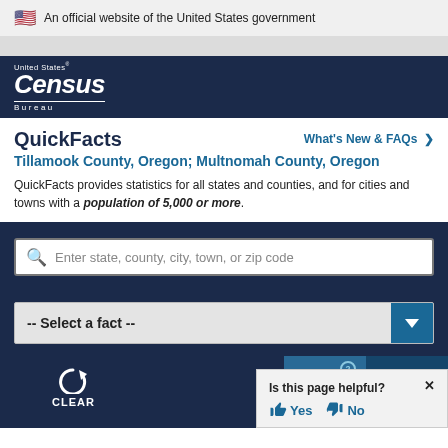An official website of the United States government
[Figure (logo): United States Census Bureau logo on dark blue background]
QuickFacts
What's New & FAQs >
Tillamook County, Oregon; Multnomah County, Oregon
QuickFacts provides statistics for all states and counties, and for cities and towns with a population of 5,000 or more.
Enter state, county, city, town, or zip code
-- Select a fact --
CLEAR
TABLE 2
MORE
Is this page helpful?  Yes  No